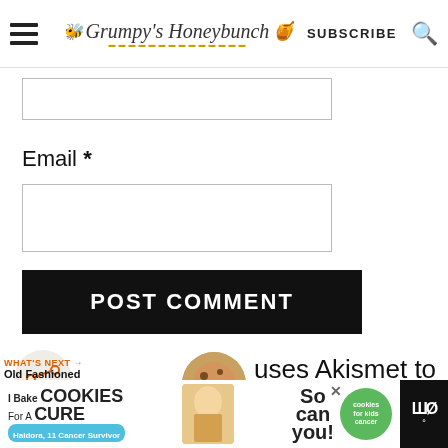Grumpy's Honeybunch | SUBSCRIBE
Email *
POST COMMENT
uses Akismet to reduce spam. Learn how your comment data is
[Figure (screenshot): Old Fashioned Peanut Butt... thumbnail next to share icon and Akismet text]
[Figure (illustration): I Bake COOKIES For A CURE - So can you! advertisement banner at bottom of page]